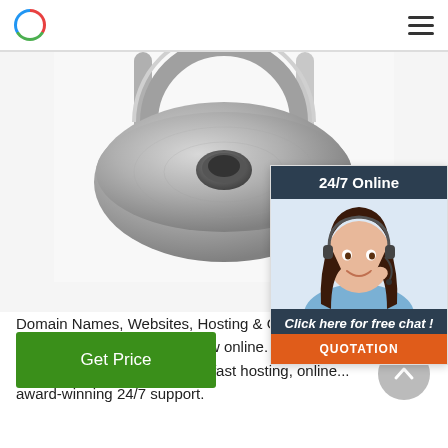Navigation bar with logo and hamburger menu
[Figure (photo): Close-up photo of a galvanized steel eye bolt / ring nut hardware component, metallic gray, viewed from above showing the ring and threaded base on a white background]
[Figure (infographic): Live chat widget overlay: '24/7 Online' header in dark slate, photo of smiling female customer service agent with headset, 'Click here for free chat!' call to action, and orange QUOTATION button]
Domain Names, Websites, Hosting & Online Mar... Your all in one solution to grow online. Create yo... website, get a domain name, fast hosting, online... award-winning 24/7 support.
Get Price
[Figure (other): Gray circular scroll-to-top button with upward chevron arrow]